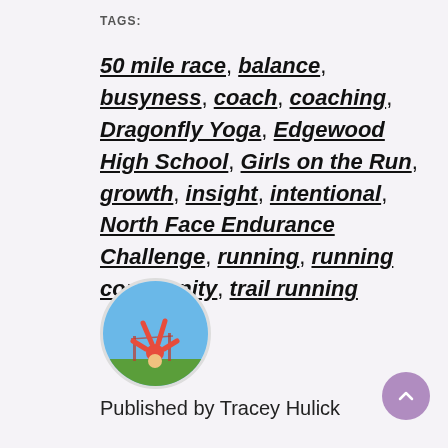TAGS:
50 mile race, balance, busyness, coach, coaching, Dragonfly Yoga, Edgewood High School, Girls on the Run, growth, insight, intentional, North Face Endurance Challenge, running, running community, trail running
[Figure (photo): Circular avatar photo of a person doing a yoga headstand or gymnastics move wearing red clothing, with the Golden Gate Bridge visible in the background against a blue sky.]
Published by Tracey Hulick